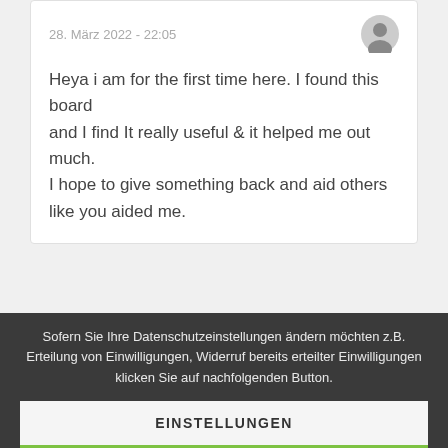28. März 2022 - 22:05
Heya i am for the first time here. I found this board and I find It really useful & it helped me out much. I hope to give something back and aid others like you aided me.
Sofern Sie Ihre Datenschutzeinstellungen ändern möchten z.B. Erteilung von Einwilligungen, Widerruf bereits erteilter Einwilligungen klicken Sie auf nachfolgenden Button.
EINSTELLUNGEN